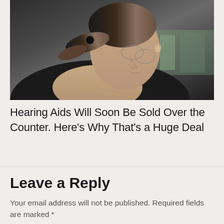[Figure (photo): A young woman with glasses and a hearing aid visible on her ear, wearing a beige knit scarf and dark jacket, looking downward. Photo taken outdoors with a blurred background.]
Hearing Aids Will Soon Be Sold Over the Counter. Here’s Why That’s a Huge Deal
Leave a Reply
Your email address will not be published. Required fields are marked *